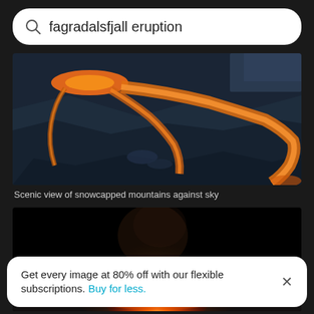fagradalsfjall eruption
[Figure (photo): Aerial view of Fagradalsfjall volcanic eruption showing orange lava flows against dark blue rocky terrain at dusk]
Scenic view of snowcapped mountains against sky
[Figure (photo): Night-time photo of volcanic eruption with glowing orange lava and smoke rising against black sky]
Get every image at 80% off with our flexible subscriptions. Buy for less.